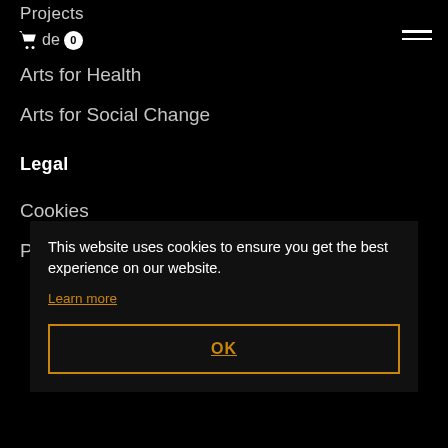Projects
de 0
Arts for Health
Arts for Social Change
Legal
Cookies
Privacy
This website uses cookies to ensure you get the best experience on our website.
Learn more
OK